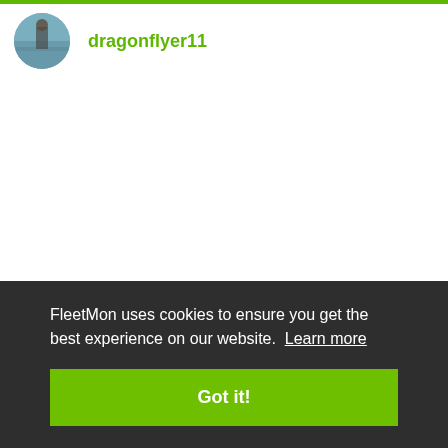[Figure (photo): Circular avatar photo of a person standing near water, with a green top navigation bar above it]
dragonflyer11
FleetMon uses cookies to ensure you get the best experience on our website. Learn more
Got it!